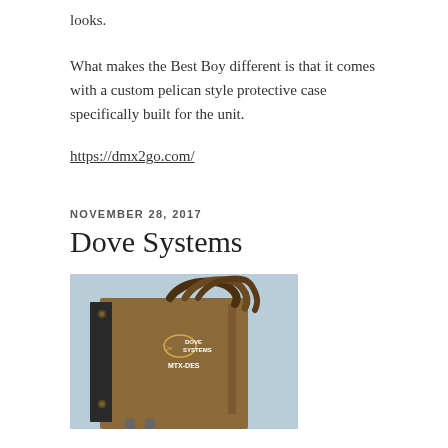looks.
What makes the Best Boy different is that it comes with a custom pelican style protective case specifically built for the unit.
https://dmx2go.com/
NOVEMBER 28, 2017
Dove Systems
[Figure (photo): Photo of a Dove Systems MTX-DES device, a brown/tan rectangular unit with coiled cables on top, against a light blue background.]